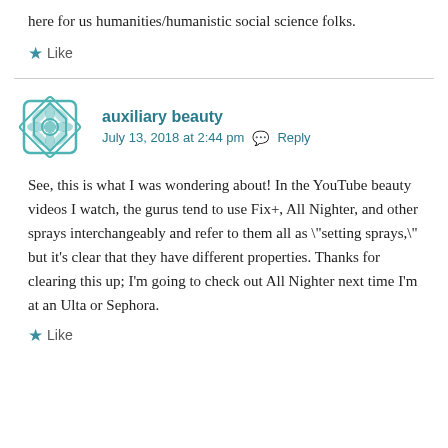here for us humanities/humanistic social science folks.
★ Like
auxiliary beauty
July 13, 2018 at 2:44 pm   Reply
See, this is what I was wondering about! In the YouTube beauty videos I watch, the gurus tend to use Fix+, All Nighter, and other sprays interchangeably and refer to them all as \"setting sprays,\" but it's clear that they have different properties. Thanks for clearing this up; I'm going to check out All Nighter next time I'm at an Ulta or Sephora.
★ Like